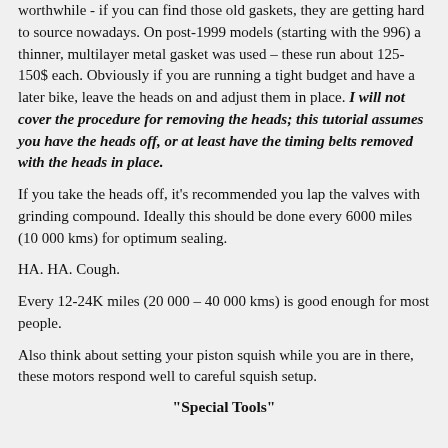worthwhile - if you can find those old gaskets, they are getting hard to source nowadays. On post-1999 models (starting with the 996) a thinner, multilayer metal gasket was used – these run about 125-150$ each. Obviously if you are running a tight budget and have a later bike, leave the heads on and adjust them in place. I will not cover the procedure for removing the heads; this tutorial assumes you have the heads off, or at least have the timing belts removed with the heads in place.
If you take the heads off, it’s recommended you lap the valves with grinding compound. Ideally this should be done every 6000 miles (10 000 kms) for optimum sealing.
HA. HA. Cough.
Every 12-24K miles (20 000 – 40 000 kms) is good enough for most people.
Also think about setting your piston squish while you are in there, these motors respond well to careful squish setup.
“Special Tools”